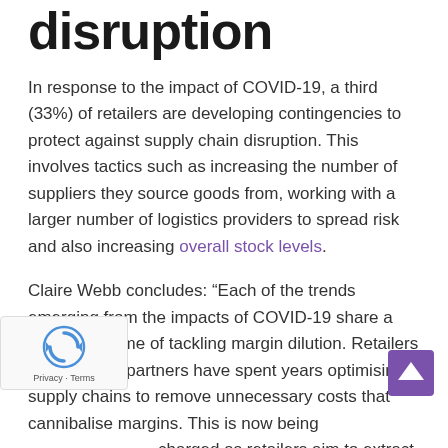disruption
In response to the impact of COVID-19, a third (33%) of retailers are developing contingencies to protect against supply chain disruption. This involves tactics such as increasing the number of suppliers they source goods from, working with a larger number of logistics providers to spread risk and also increasing overall stock levels.
Claire Webb concludes: “Each of the trends emerging from the impacts of COVID-19 share a common theme of tackling margin dilution. Retailers and logistics partners have spent years optimising supply chains to remove unnecessary costs that cannibalise margins. This is now being recharged as retailers aim to extract maximum from each hard-fought sale and to build